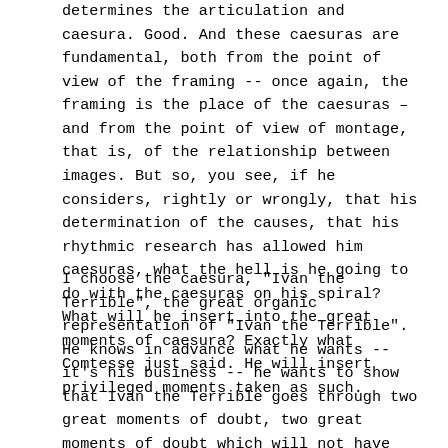determines the articulation and caesura. Good. And these caesuras are fundamental, both from the point of view of the framing -- once again, the framing is the place of the caesuras – and from the point of view of montage, that is, of the relationship between images. But so, you see, if he considers, rightly or wrongly, that his determination of the causes, that his rhythmic research has allowed him caesuras, what the hell is he going to do with the caesuras on his spiral? What will he insert into the great moments of caesura? Exactly what Comtesse just said. He will insert privileged moments taken as such.
I choose the caesura, "Ivan the Terrible", the great organic representation of "Ivan the Terrible". He knows in advance what he wants -- it's his business -- he wants to show that Ivan the Terrible goes through two great moments of doubt, two great moments of doubt which will not have the same meaning, which will not be repetition at all, which will not be repetition. There will be a very different...